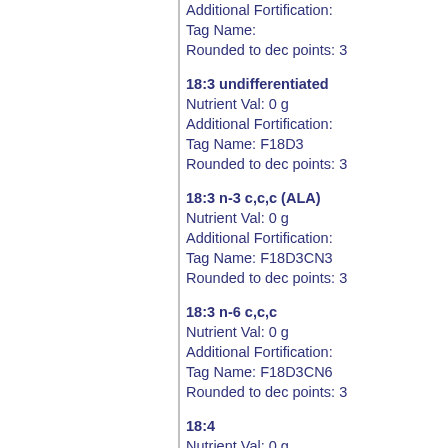Additional Fortification:
Tag Name:
Rounded to dec points: 3
18:3 undifferentiated
Nutrient Val: 0 g
Additional Fortification:
Tag Name: F18D3
Rounded to dec points: 3
18:3 n-3 c,c,c (ALA)
Nutrient Val: 0 g
Additional Fortification:
Tag Name: F18D3CN3
Rounded to dec points: 3
18:3 n-6 c,c,c
Nutrient Val: 0 g
Additional Fortification:
Tag Name: F18D3CN6
Rounded to dec points: 3
18:4
Nutrient Val: 0 g
Additional Fortification:
Tag Name: F18D4